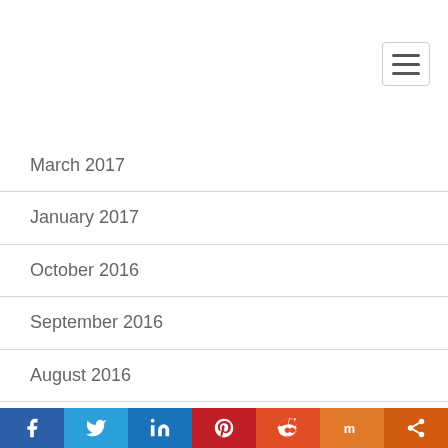March 2017
January 2017
October 2016
September 2016
August 2016
July 2016
June 2016
May 2016
April 2016
Social share bar: Facebook, Twitter, LinkedIn, Pinterest, Reddit, Mix, Share